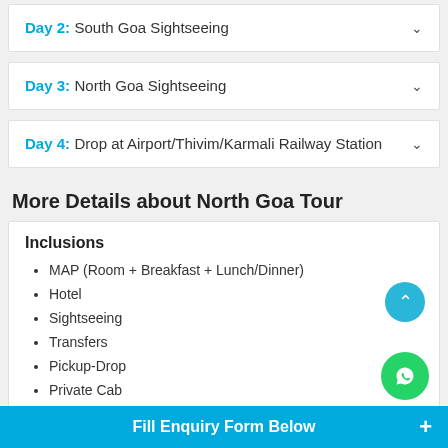Day 2: South Goa Sightseeing
Day 3: North Goa Sightseeing
Day 4: Drop at Airport/Thivim/Karmali Railway Station
More Details about North Goa Tour
Inclusions
MAP (Room + Breakfast + Lunch/Dinner)
Hotel
Sightseeing
Transfers
Pickup-Drop
Private Cab
Fill Enquiry Form Below